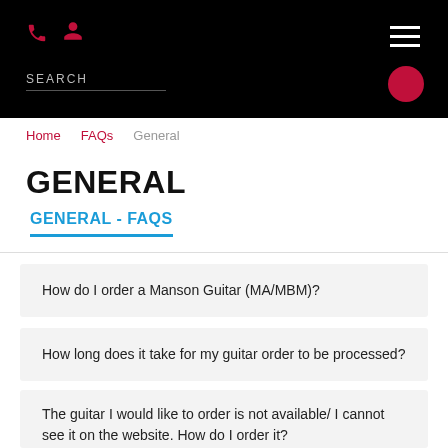SEARCH
Home > FAQs > General
GENERAL
GENERAL - FAQS
How do I order a Manson Guitar (MA/MBM)?
How long does it take for my guitar order to be processed?
The guitar I would like to order is not available/ I cannot see it on the website. How do I order it?